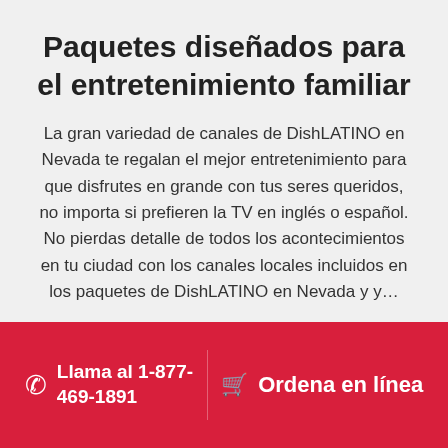Paquetes diseñados para el entretenimiento familiar
La gran variedad de canales de DishLATINO en Nevada te regalan el mejor entretenimiento para que disfrutes en grande con tus seres queridos, no importa si prefieren la TV en inglés o español. No pierdas detalle de todos los acontecimientos en tu ciudad con los canales locales incluidos en los paquetes de DishLATINO en Nevada y…
Llama al 1-877-469-1891    Ordena en línea